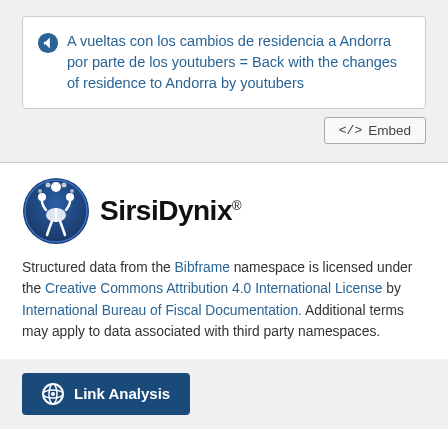A vueltas con los cambios de residencia a Andorra por parte de los youtubers = Back with the changes of residence to Andorra by youtubers
</> Embed
[Figure (logo): SirsiDynix logo with blue circular emblem showing stylized figures and text 'SirsiDynix']
Structured data from the Bibframe namespace is licensed under the Creative Commons Attribution 4.0 International License by International Bureau of Fiscal Documentation. Additional terms may apply to data associated with third party namespaces.
Link Analysis